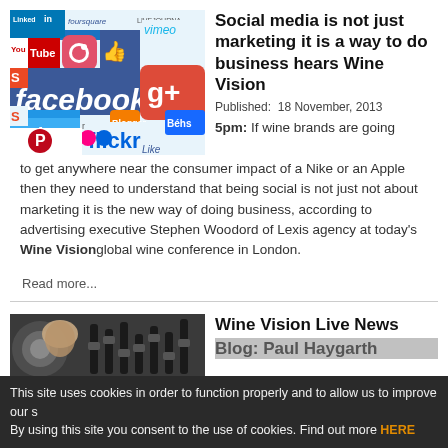[Figure (photo): Collage of social media logos including LinkedIn, Foursquare, LiveJournal, YouTube, Instagram, Facebook, Google+, Twitter, Pinterest, Flickr, Vimeo, Blogger, and others]
Social media is not just marketing it is a way to do business hears Wine Vision
Published:  18 November, 2013
5pm: If wine brands are going to get anywhere near the consumer impact of a Nike or an Apple then they need to understand that being social is not just not about marketing it is the new way of doing business, according to advertising executive Stephen Woodord of Lexis agency at today's Wine Vision global wine conference in London.
Read more...
[Figure (photo): Close-up of what appears to be a mixing board or audio/wine-related equipment with blurred background]
Wine Vision Live News Blog: Paul Haygarth
This site uses cookies in order to function properly and to allow us to improve our s By using this site you consent to the use of cookies. Find out more HERE